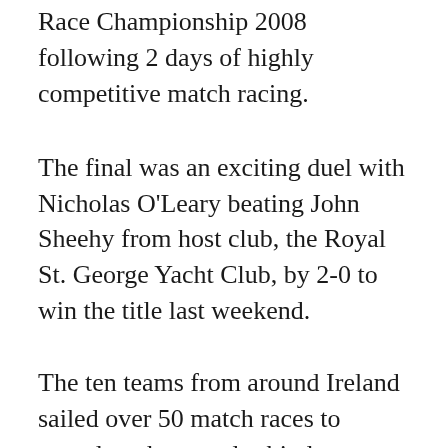Race Championship 2008 following 2 days of highly competitive match racing.
The final was an exciting duel with Nicholas O'Leary beating John Sheehy from host club, the Royal St. George Yacht Club, by 2-0 to win the title last weekend.
The ten teams from around Ireland sailed over 50 match races to complete the round robin league and the final rounds. The round robin consisted of 9 matches for each team. At its conclusion O'Leary had a clear lead of 8 wins to Sheehy's 6, a position shared with Andrew Deakin, Cullaun SC, and George Kingston, Kinsale YC. Sheehy got the final